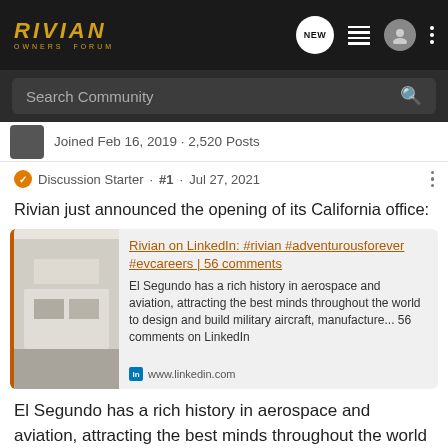RIVIAN OWNERS FORUM
Search Community
Joined Feb 16, 2019 · 2,520 Posts
Discussion Starter · #1 · Jul 27, 2021
Rivian just announced the opening of its California office:
[Figure (screenshot): LinkedIn link card with thumbnail image of an office interior, link title 'Rivian on LinkedIn: #rivian #adventurousforever #evcareers | 56 comments', description text, and www.linkedin.com source]
El Segundo has a rich history in aerospace and aviation, attracting the best minds throughout the world to design and